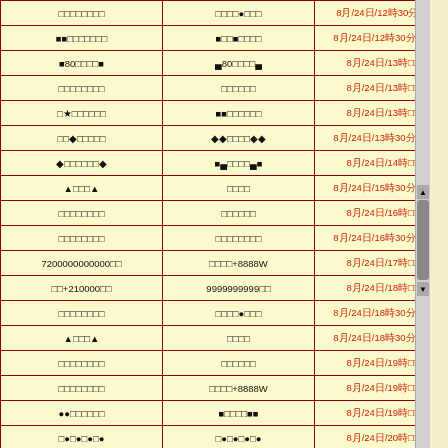| （列1） | （列2） | （列3） |
| --- | --- | --- |
| □□□□□□□□ | □□□□●□□□ | 8月/24日/12時30分□□ |
| ■■□□□□□□□ | ■□□■□□□□ | 8月/24日/12時30分□□□ |
| ■80□□□□■ | ▄80□□□□▄ | 8月/24日/13時□□ |
| □□□□□□□□ | □□□□□□ | 8月/24日/13時□□ |
| □★□□□□□□ | ■■□□□□□□ | 8月/24日/13時□□ |
| □□◆□□□□□ | ◆◆□□□□◆◆ | 8月/24日/13時30分□□□ |
| ◆□□□□□□◆ | ■▄□□□□▄■ | 8月/24日/14時□□ |
| ▲□□□▲ | □□□□ | 8月/24日/15時30分□□□ |
| □□□□□□□□ | □□□□□□ | 8月/24日/16時□□ |
| □□□□□□□□ | □□□□□□□□ | 8月/24日/16時30分□□□ |
| 7200000000000□□ | □□□□+8888W | 8月/24日/17時□□ |
| □□+210000□□ | 9999999999□□ | 8月/24日/18時□□ |
| □□□□□□□□ | □□□□●□□□ | 8月/24日/18時30分□□□ |
| ▲□□□▲ | □□□□ | 8月/24日/18時30分□□□ |
| □□□□□□□□ | □□□□□□ | 8月/24日/19時□□ |
| □□□□□□□□ | □□□□+8888W | 8月/24日/19時□□ |
| ●●□□□□□□ | ■□□□□■■ | 8月/24日/19時□□ |
| □●□●□●□● | □●□●□●□● | 8月/24日/20時□□ |
| ▲□□□□□▲ | ■□□□□■ | 8月/24日/20時□□ |